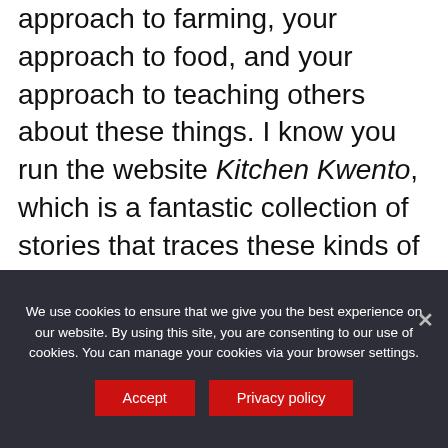approach to farming, your approach to food, and your approach to teaching others about these things. I know you run the website Kitchen Kwento, which is a fantastic collection of stories that traces these kinds of complex relationships between land, food, individuals, communities, and families. I'm curious about your favorite stories that you've come across in doing this kind of storytelling or story collecting
We use cookies to ensure that we give you the best experience on our website. By using this site, you are consenting to our use of cookies. You can manage your cookies via your browser settings.